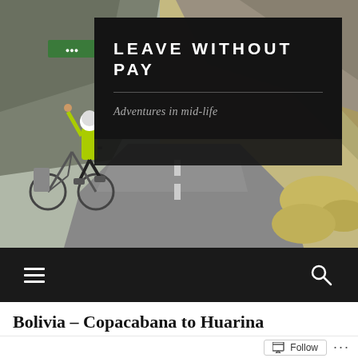[Figure (photo): Website header with background photo of a mountain road landscape. A cyclist in a bright yellow/green jacket and helmet with a bicycle is visible on the left side of the image, arm raised. Rocky mountain terrain and grass visible in background.]
LEAVE WITHOUT PAY
Adventures in mid-life
[Figure (other): Navigation bar with hamburger menu icon on the left and search (magnifying glass) icon on the right, on a black background.]
Bolivia – Copacabana to Huarina